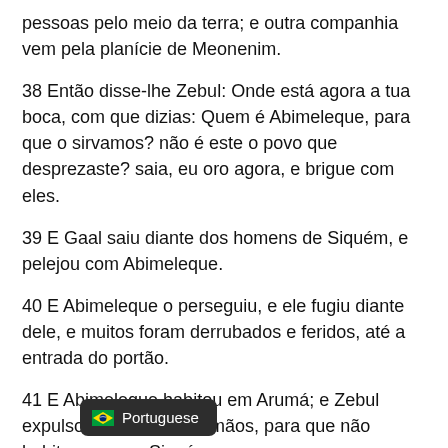pessoas pelo meio da terra; e outra companhia vem pela planície de Meonenim.
38 Então disse-lhe Zebul: Onde está agora a tua boca, com que dizias: Quem é Abimeleque, para que o sirvamos? não é este o povo que desprezaste? saia, eu oro agora, e brigue com eles.
39 E Gaal saiu diante dos homens de Siquém, e pelejou com Abimeleque.
40 E Abimeleque o perseguiu, e ele fugiu diante dele, e muitos foram derrubados e feridos, até a entrada do portão.
41 E Abimeleque habitou em Arumá; e Zebul expulsou Gaal e seus irmãos, para que não habitassem em Siquém.
42 E aconteceu que no dia seguinte o povo saiu para o campo; e eles contaram a Abimeleque.
43 E ele tomou o povo, e os dividiu em três grupos, e armou ciladas no campo, e olhou, e eis que o povo tinha saído da cidade; e ele se levantou contra eles e os feriu.
44 e companhia que estava com ele,
[Figure (other): Portuguese language tooltip overlay with Brazilian flag emoji]